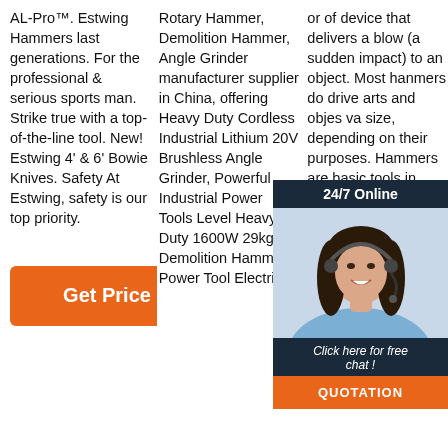AL-Pro™. Estwing Hammers last generations. For the professional & serious sports man. Strike true with a top-of-the-line tool. New! Estwing 4' & 6' Bowie Knives. Safety At Estwing, safety is our top priority.
[Figure (other): Orange 'Get Price' button]
Rotary Hammer, Demolition Hammer, Angle Grinder manufacturer supplier in China, offering Heavy Duty Cordless Industrial Lithium 20V Brushless Angle Grinder, Powerful Industrial Power Tools Level Heavy Duty 1600W 29kg Demolition Hammer, Power Tool Electric
or of device that delivers a blow (a sudden impact) to an object. Most hammers do drive arts and objects varying in size, depending on their purposes. Hammers are basic tools in many trades. The usual f
[Figure (photo): Customer service chat widget with a photo of a smiling woman wearing a headset, dark background, '24/7 Online' header, 'Click here for free chat!' text, and orange 'QUOTATION' button]